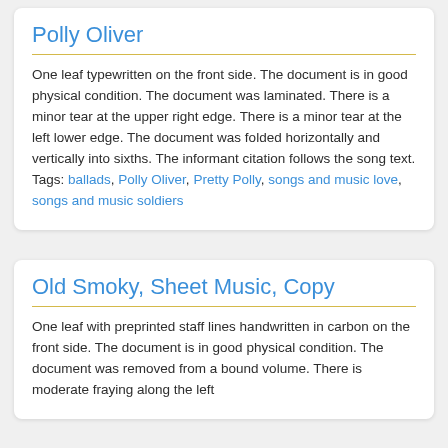Polly Oliver
One leaf typewritten on the front side. The document is in good physical condition. The document was laminated. There is a minor tear at the upper right edge. There is a minor tear at the left lower edge. The document was folded horizontally and vertically into sixths. The informant citation follows the song text. Tags: ballads, Polly Oliver, Pretty Polly, songs and music love, songs and music soldiers
Old Smoky, Sheet Music, Copy
One leaf with preprinted staff lines handwritten in carbon on the front side. The document is in good physical condition. The document was removed from a bound volume. There is moderate fraying along the left edge. The document was laminated. The minor...